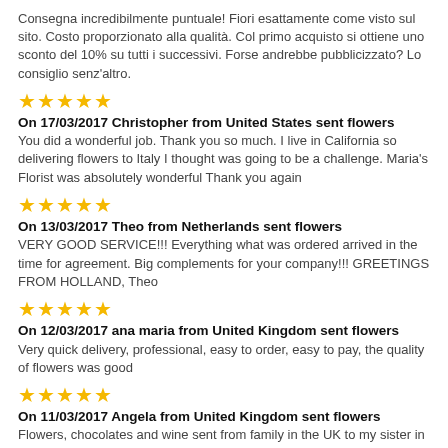Consegna incredibilmente puntuale! Fiori esattamente come visto sul sito. Costo proporzionato alla qualità. Col primo acquisto si ottiene uno sconto del 10% su tutti i successivi. Forse andrebbe pubblicizzato? Lo consiglio senz'altro.
★★★★★
On 17/03/2017 Christopher from United States sent flowers
You did a wonderful job. Thank you so much. I live in California so delivering flowers to Italy I thought was going to be a challenge. Maria's Florist was absolutely wonderful Thank you again
★★★★★
On 13/03/2017 Theo from Netherlands sent flowers
VERY GOOD SERVICE!!! Everything what was ordered arrived in the time for agreement. Big complements for your company!!! GREETINGS FROM HOLLAND, Theo
★★★★★
On 12/03/2017 ana maria from United Kingdom sent flowers
Very quick delivery, professional, easy to order, easy to pay, the quality of flowers was good
★★★★★
On 11/03/2017 Angela from United Kingdom sent flowers
Flowers, chocolates and wine sent from family in the UK to my sister in Naples for her 70th birthday. Seamless service from online ordering to delivery. Will absolutely recommend you to anyone who wants a trusted delivery service. Thank you :-)
★★★★★
On 10/03/2017 Vicki from United States sent flowers